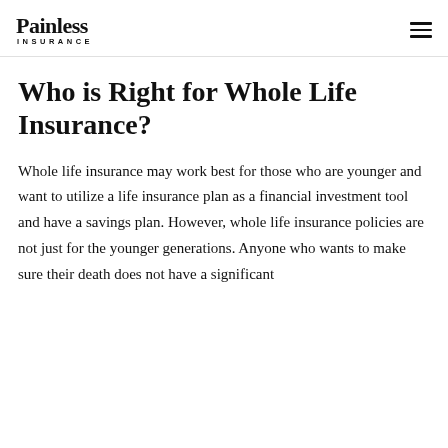Painless Insurance
Who is Right for Whole Life Insurance?
Whole life insurance may work best for those who are younger and want to utilize a life insurance plan as a financial investment tool and have a savings plan. However, whole life insurance policies are not just for the younger generations. Anyone who wants to make sure their death does not have a significant